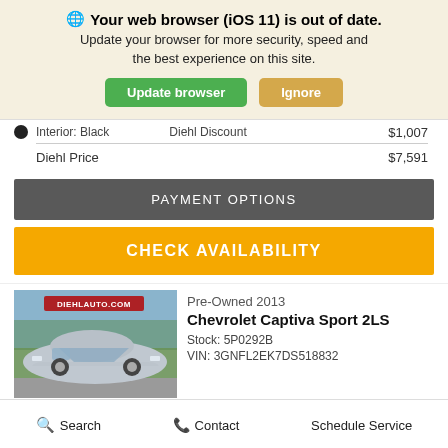🌐 Your web browser (iOS 11) is out of date. Update your browser for more security, speed and the best experience on this site. Update browser | Ignore
| Item | Price |
| --- | --- |
| Interior: Black |  |
| Diehl Discount | $1,007 |
| Diehl Price | $7,591 |
PAYMENT OPTIONS
CHECK AVAILABILITY
[Figure (photo): Silver Chevrolet Captiva Sport SUV parked outdoors with DIEHLAUTO.COM watermark]
Pre-Owned 2013
Chevrolet Captiva Sport 2LS
Stock: 5P0292B
VIN: 3GNFL2EK7DS518832
Search   Contact   Schedule Service